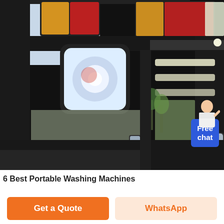[Figure (photo): Close-up interior/rear view of a forklift or heavy construction vehicle cab. Shows rear light assembly (orange and red lights) at top, a square white headlamp/work light mounted to a black frame pillar, interior LED strip lights on ceiling, side mirrors, outdoor scene with trees visible through windows. A 'Free chat' badge and customer service avatar are overlaid in the upper right corner.]
6 Best Portable Washing Machines
Get a Quote
WhatsApp